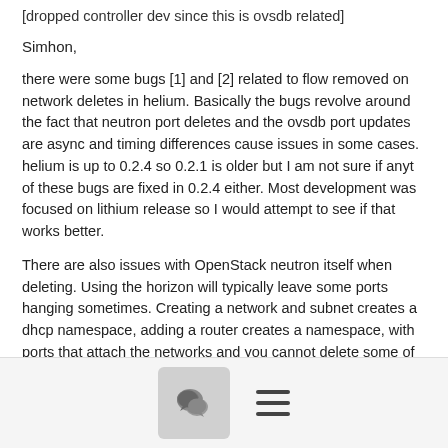[dropped controller dev since this is ovsdb related]
Simhon,
there were some bugs [1] and [2] related to flow removed on network deletes in helium. Basically the bugs revolve around the fact that neutron port deletes and the ovsdb port updates are async and timing differences cause issues in some cases. helium is up to 0.2.4 so 0.2.1 is older but I am not sure if anyt of these bugs are fixed in 0.2.4 either. Most development was focused on lithium release so I would attempt to see if that works better.
There are also issues with OpenStack neutron itself when deleting. Using the horizon will typically leave some ports hanging sometimes. Creating a network and subnet creates a dhcp namespace, adding a router creates a namespace, with ports that attach the networks and you cannot delete some of those ports. [4] below shows some of the neutron cli commands to properly remove all ports associated with a network.
[Figure (other): Bottom navigation bar with a comment/chat icon button and a hamburger menu icon]